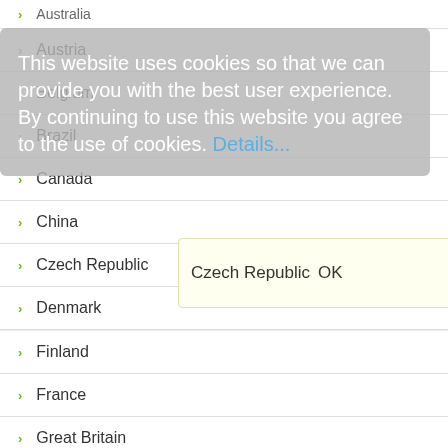Australia
Austria
Belgium
Brazil
Canada
China
Czech Republic
Denmark
Finland
France
Great Britain
Italy
Korea
Liechtenstein
Luxembourg
Netherlands
This website uses cookies so that we can provide you with the best user experience. By continuing to use this website you agree to the use of cookies. Details...